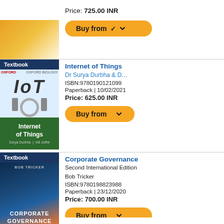Price: 725.00 INR
[Figure (other): Orange Buy from button with chevron]
Textbook
[Figure (photo): Internet of Things textbook cover - IoT book with grey/white design top, green bottom section with title]
Internet of Things
Dr Surya Durbha & D...
ISBN:9780190121099
Paperback | 10/02/2021
Price: 625.00 INR
[Figure (other): Orange Buy from button with chevron]
Textbook
[Figure (photo): Corporate Governance textbook cover - blue building/glass facade]
Corporate Governance
Second International Edition
Bob Tricker
ISBN:9780198823988
Paperback | 23/12/2020
Price: 700.00 INR
[Figure (other): Orange Buy from button with chevron (partially visible)]